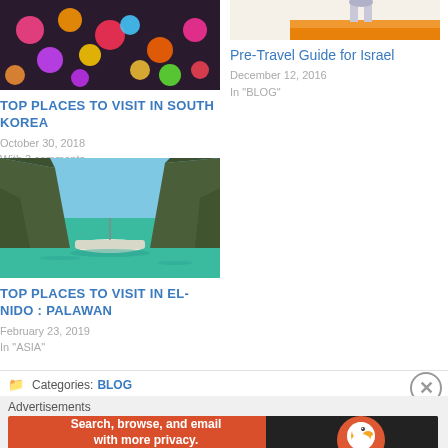[Figure (photo): Colorful lanterns or decorations photo thumbnail for South Korea article]
TOP PLACES TO VISIT IN SOUTH KOREA
October 30, 2018
With 3 comments
[Figure (photo): Figurine on orange background thumbnail for Israel pre-travel guide article]
Pre-Travel Guide for Israel
December 12, 2016
In "BLOG"
[Figure (photo): Boat between limestone cliffs in turquoise water - El Nido Palawan]
TOP PLACES TO VISIT IN EL-NIDO : PALAWAN
February 23, 2019
In "ASIA"
Categories: BLOG
Advertisements
[Figure (other): DuckDuckGo advertisement banner: Search, browse, and email with more privacy. All in One Free App]